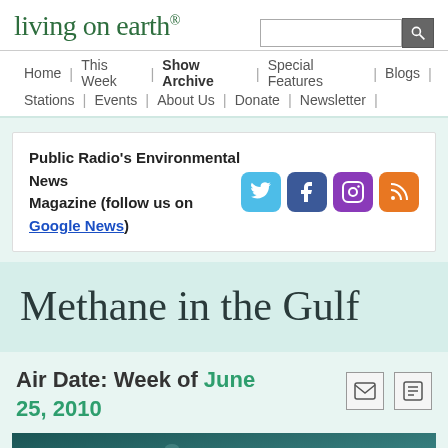living on earth®
Home | This Week | Show Archive | Special Features | Blogs | Stations | Events | About Us | Donate | Newsletter |
Public Radio's Environmental News Magazine (follow us on Google News)
Methane in the Gulf
Air Date: Week of June 25, 2010
[Figure (photo): Teal/dark green ocean surface showing what appears to be methane bubbles or oil sheen on the water]